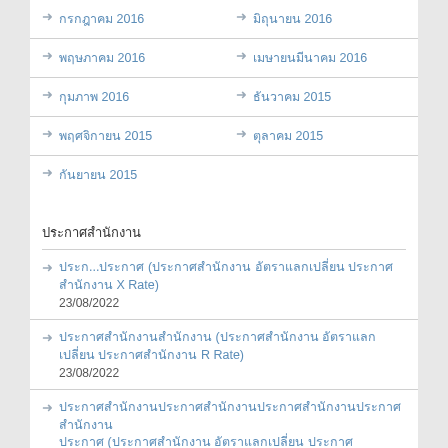กรกฎาคม 2016 / มิถุนายน 2016
พฤษภาคม 2016 / เมษายน…มีนาคม 2016
กุมภาพ 2016 / ธันวาคม 2015
พฤศจิกายน 2015 / ตุลาคม 2015
กันยายน 2015
ประกาศสำนักงาน
ประก...ประกาศ (ประกาศสำนักงาน อัตราแลกเปลี่ยน ประกาศสำนักงาน X Rate) 23/08/2022
ประกาศสำนักงานสำนักงาน (ประกาศสำนักงาน อัตราแลกเปลี่ยน ประกาศสำนักงาน R Rate) 23/08/2022
ประกาศสำนักงานประกาศสำนักงานประกาศสำนักงานประกาศสำนักงาน ประกาศ (ประกาศสำนักงาน อัตราแลกเปลี่ยน ประกาศสำนักงาน R Rate) 23/08/2022
ประกาศสำนักงานสำนักงาน ประกาศสำนักงานสำนักงาน (ประกาศสำนักงาน ประกาศสำนักงาน ประกาศสำนักงาน ประกาศสำนักงาน R Rate) 23/08/2022